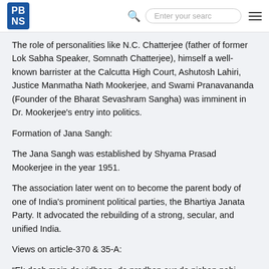PBNS | Enter your search
The role of personalities like N.C. Chatterjee (father of former Lok Sabha Speaker, Somnath Chatterjee), himself a well-known barrister at the Calcutta High Court, Ashutosh Lahiri, Justice Manmatha Nath Mookerjee, and Swami Pranavananda (Founder of the Bharat Sevashram Sangha) was imminent in Dr. Mookerjee's entry into politics.
Formation of Jana Sangh:
The Jana Sangh was established by Shyama Prasad Mookerjee in the year 1951.
The association later went on to become the parent body of one of India's prominent political parties, the Bhartiya Janata Party. It advocated the rebuilding of a strong, secular, and unified India.
Views on article-370 & 35-A:
“Ek desh mein do vidhaan, do pradhan aur do nishan nahi chalenge” – Shyama Prasad Mookerjee